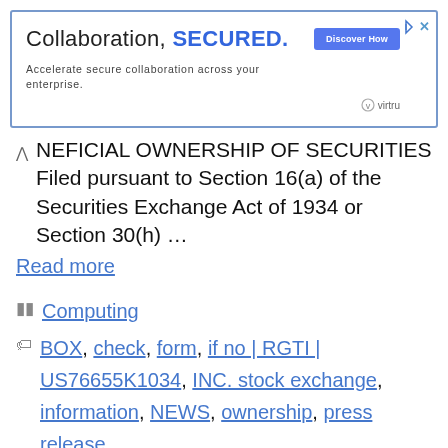[Figure (other): Advertisement banner: 'Collaboration, SECURED.' with subtitle 'Accelerate secure collaboration across your enterprise.' and 'Discover How' button with Virtru logo]
NEFICIAL OWNERSHIP OF SECURITIES Filed pursuant to Section 16(a) of the Securities Exchange Act of 1934 or Section 30(h) …
Read more
Computing
BOX, check, form, if no | RGTI | US76655K1034, INC. stock exchange, information, NEWS, ownership, press release, Rigetti Computing, stock market today, submission, this
Leave a comment